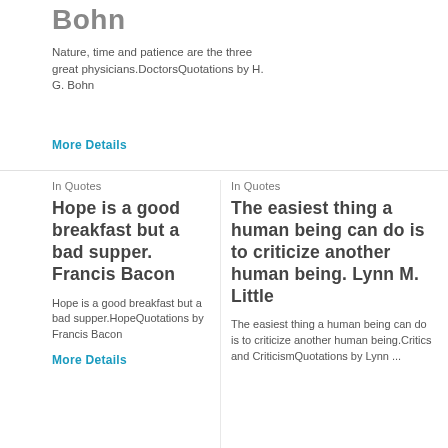Bohn
Nature, time and patience are the three great physicians.DoctorsQuotations by H. G. Bohn
More Details
In Quotes
Hope is a good breakfast but a bad supper. Francis Bacon
Hope is a good breakfast but a bad supper.HopeQuotations by Francis Bacon
More Details
In Quotes
The easiest thing a human being can do is to criticize another human being. Lynn M. Little
The easiest thing a human being can do is to criticize another human being.Critics and CriticismQuotations by Lynn ...